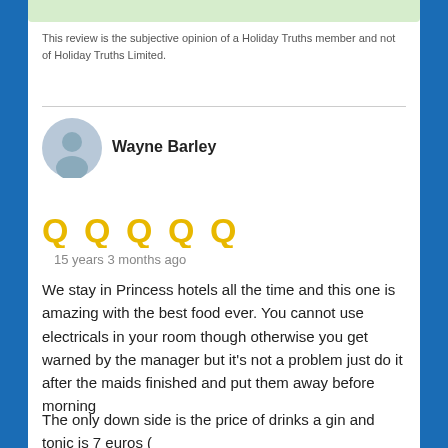This review is the subjective opinion of a Holiday Truths member and not of Holiday Truths Limited.
Wayne Barley
[Figure (other): Five gold star/circle rating symbols indicating a 5-star review]
15 years 3 months ago
We stay in Princess hotels all the time and this one is amazing with the best food ever. You cannot use electricals in your room though otherwise you get warned by the manager but it's not a problem just do it after the maids finished and put them away before morning
The only down side is the price of drinks a gin and tonic is 7 euros (